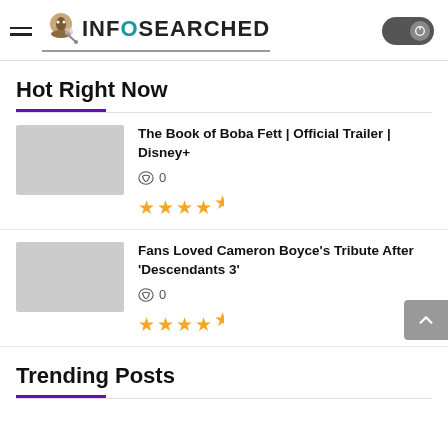INFOSEARCHED
Hot Right Now
The Book of Boba Fett | Official Trailer | Disney+
Fans Loved Cameron Boyce's Tribute After 'Descendants 3'
Trending Posts